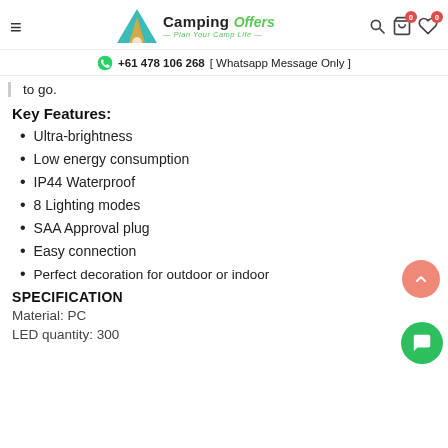Camping Offers — Plan Your Camp Life | +61 478 106 268 [ Whatsapp Message Only ]
to go.
Key Features:
Ultra-brightness
Low energy consumption
IP44 Waterproof
8 Lighting modes
SAA Approval plug
Easy connection
Perfect decoration for outdoor or indoor
SPECIFICATION
Material: PC
LED quantity: 300